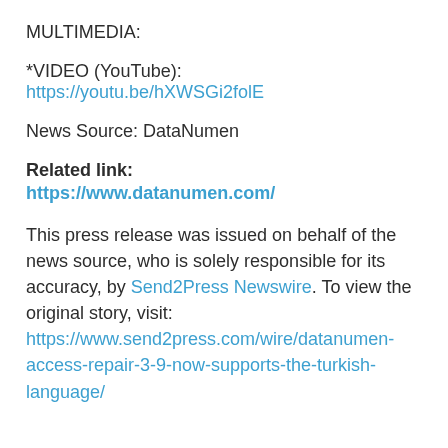MULTIMEDIA:
*VIDEO (YouTube):
https://youtu.be/hXWSGi2folE
News Source: DataNumen
Related link:
https://www.datanumen.com/
This press release was issued on behalf of the news source, who is solely responsible for its accuracy, by Send2Press Newswire. To view the original story, visit: https://www.send2press.com/wire/datanumen-access-repair-3-9-now-supports-the-turkish-language/